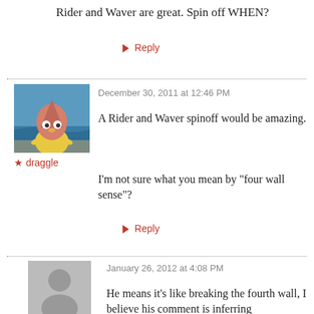Rider and Waver are great. Spin off WHEN?
↳ Reply
December 30, 2011 at 12:46 PM
[Figure (photo): Avatar image of a cartoon bird-like character (pink head, yellow body) standing on a beach.]
★ draggle
A Rider and Waver spinoff would be amazing.
I'm not sure what you mean by "four wall sense"?
↳ Reply
January 26, 2012 at 4:08 PM
[Figure (illustration): Generic grey avatar silhouette of a person.]
He means it's like breaking the fourth wall, I believe his comment is inferring